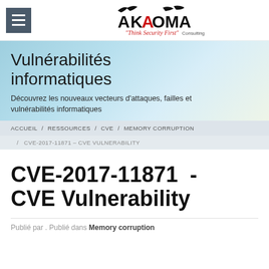AKAOMA Consulting — Think Security First
Vulnérabilités informatiques
Découvrez les nouveaux vecteurs d'attaques, failles et vulnérabilités informatiques
ACCUEIL / RESSOURCES / CVE / MEMORY CORRUPTION / CVE-2017-11871 – CVE VULNERABILITY
CVE-2017-11871 - CVE Vulnerability
Publié par . Publié dans Memory corruption